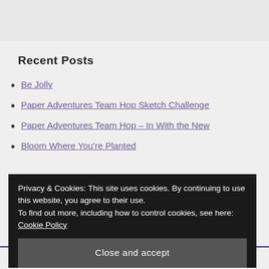Recent Posts
Be Jolly
Paper Adventures Team Hop Sketch Challenge
Paper Adventures Team Hop – In With the New
Bloom Where You're Planted
Privacy & Cookies: This site uses cookies. By continuing to use this website, you agree to their use.
To find out more, including how to control cookies, see here: Cookie Policy
Close and accept
Share the Love....